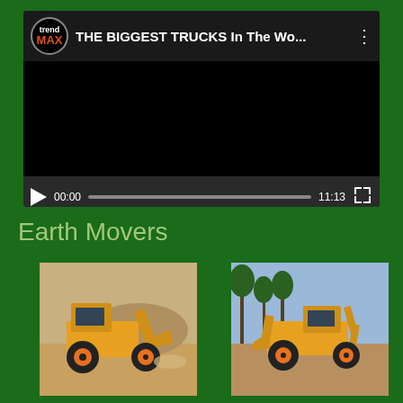[Figure (screenshot): Video player showing 'THE BIGGEST TRUCKS In The Wo...' by TrendMAX channel. Player shows black video area with controls: play button, time 00:00, progress bar, duration 11:13, and fullscreen button.]
Earth Movers
[Figure (photo): Yellow JCB backhoe loader scooping dirt/sand, operating on a sandy construction site.]
[Figure (photo): Yellow JCB backhoe loader with palm trees visible in background, operating on flat ground.]